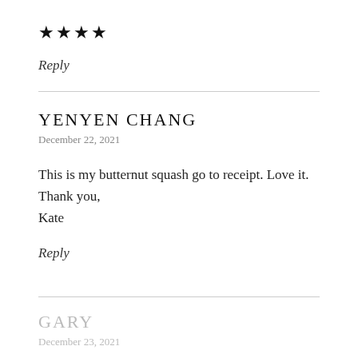★★★★
Reply
YENYEN CHANG
December 22, 2021
This is my butternut squash go to receipt. Love it.
Thank you,
Kate
Reply
GARY
December 23, 2021